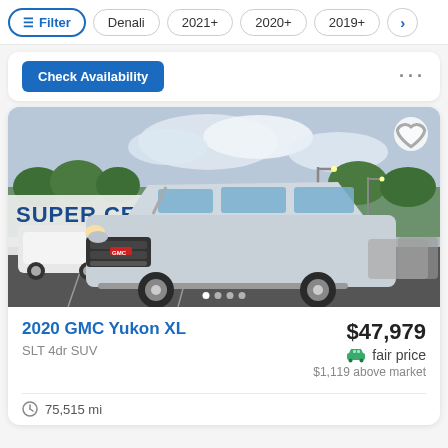Filter | Denali | 2021+ | 2020+ | 2019+
Check Availability
[Figure (photo): Silver 2020 GMC Yukon XL SUV parked at a dealership lot labeled 'Super Center' and 'Day's']
2020 GMC Yukon XL
SLT 4dr SUV
$47,979
fair price
$1,119 above market